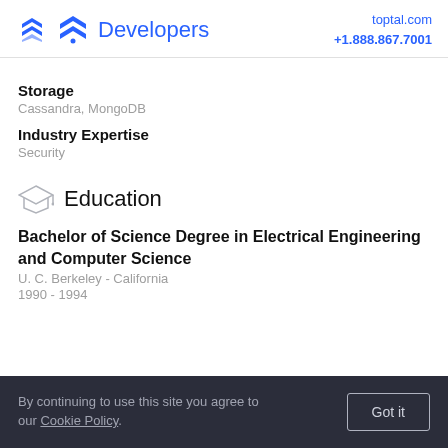Developers | toptal.com +1.888.867.7001
Storage
Cassandra, MongoDB
Industry Expertise
Security
Education
Bachelor of Science Degree in Electrical Engineering and Computer Science
U. C. Berkeley - California
1990 - 1994
By continuing to use this site you agree to our Cookie Policy. Got it